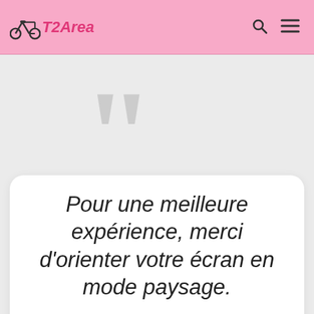T2Area
[Figure (other): Large decorative quotation marks in light grey]
Pour une meilleure expérience, merci d'orienter votre écran en mode paysage.